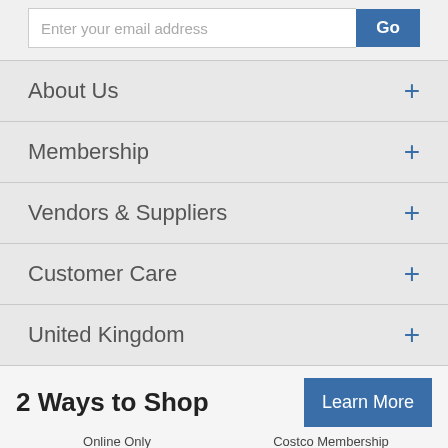Enter your email address
About Us
Membership
Vendors & Suppliers
Customer Care
United Kingdom
2 Ways to Shop
Learn More
Online Only
Annual Subscription
Costco Membership
[Figure (logo): Costco.co.uk - Online Only Shopping card logo]
[Figure (photo): Three Costco membership cards: Costco Wholesale Trade, Individual, and Executive Member]